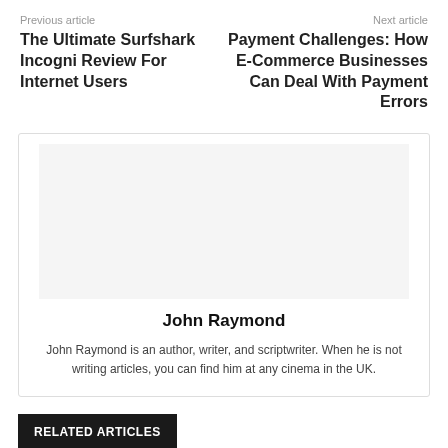Previous article
The Ultimate Surfshark Incogni Review For Internet Users
Next article
Payment Challenges: How E-Commerce Businesses Can Deal With Payment Errors
[Figure (photo): Author photo placeholder for John Raymond]
John Raymond
John Raymond is an author, writer, and scriptwriter. When he is not writing articles, you can find him at any cinema in the UK.
RELATED ARTICLES